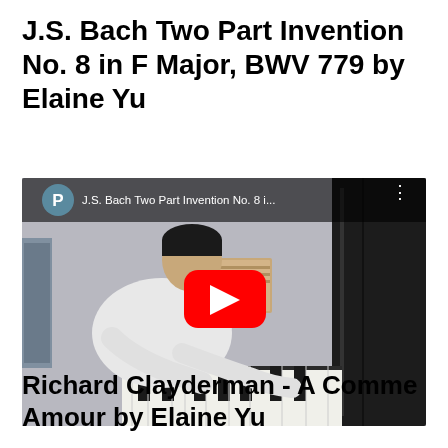J.S. Bach Two Part Invention No. 8 in F Major, BWV 779 by Elaine Yu
[Figure (screenshot): YouTube video thumbnail showing a person playing piano, with YouTube play button overlay and video title bar at top reading 'J.S. Bach Two Part Invention No. 8 i...' with avatar icon 'P']
Richard Clayderman - A Comme Amour by Elaine Yu